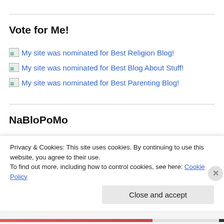Vote for Me!
My site was nominated for Best Religion Blog!
My site was nominated for Best Blog About Stuff!
My site was nominated for Best Parenting Blog!
NaBloPoMo
[Figure (logo): BlogHer logo with tagline 'Life well said' and autumn leaf image with 'Participa...' text rotated vertically]
Privacy & Cookies: This site uses cookies. By continuing to use this website, you agree to their use. To find out more, including how to control cookies, see here: Cookie Policy
Close and accept